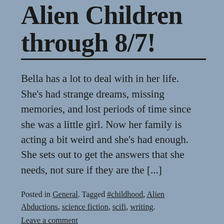Alien Children through 8/7!
Bella has a lot to deal with in her life. She’s had strange dreams, missing memories, and lost periods of time since she was a little girl. Now her family is acting a bit weird and she’s had enough. She sets out to get the answers that she needs, not sure if they are the [...]
Posted in General. Tagged #childhood, Alien Abductions, science fiction, scifi, writing. Leave a comment